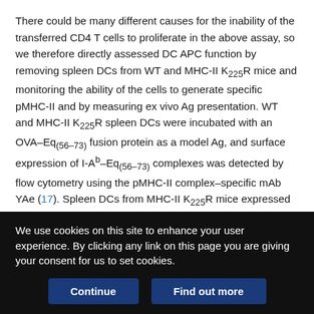There could be many different causes for the inability of the transferred CD4 T cells to proliferate in the above assay, so we therefore directly assessed DC APC function by removing spleen DCs from WT and MHC-II K225R mice and monitoring the ability of the cells to generate specific pMHC-II and by measuring ex vivo Ag presentation. WT and MHC-II K225R spleen DCs were incubated with an OVA–Eq(56-73) fusion protein as a model Ag, and surface expression of I-Ab–Eq(56-73) complexes was detected by flow cytometry using the pMHC-II complex–specific mAb YAe (17). Spleen DCs from MHC-II K225R mice expressed more I-Ab–Eq(56-73) complexes as compared with WT DCs (Fig. 2A), confirming that processing of the fusion protein and loading of Eq(56-73) onto MHC-II proceeded normally in these DCs. Nevertheless, OVA
We use cookies on this site to enhance your user experience. By clicking any link on this page you are giving your consent for us to set cookies.